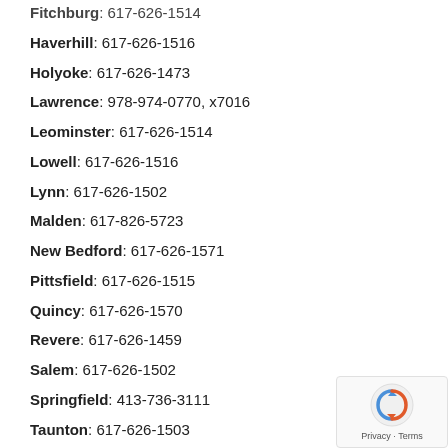Fitchburg: 617-626-1514 (partial, cut off at top)
Haverhill: 617-626-1516
Holyoke: 617-626-1473
Lawrence: 978-974-0770, x7016
Leominster: 617-626-1514
Lowell: 617-626-1516
Lynn: 617-626-1502
Malden: 617-826-5723
New Bedford: 617-626-1571
Pittsfield: 617-626-1515
Quincy: 617-626-1570
Revere: 617-626-1459
Salem: 617-626-1502
Springfield: 413-736-3111
Taunton: 617-626-1503
Westfield: 617-626-1473
Worcester: 617-626-1458